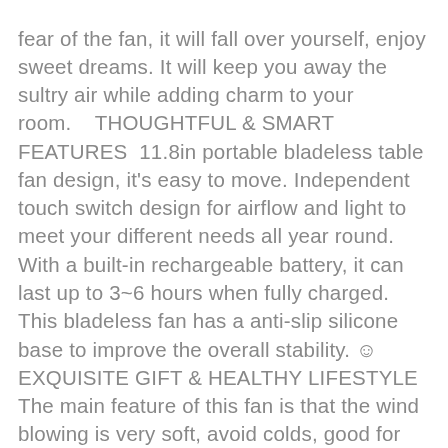fear of the fan, it will fall over yourself, enjoy sweet dreams. It will keep you away the sultry air while adding charm to your room.    THOUGHTFUL & SMART FEATURES  11.8in portable bladeless table fan design, it's easy to move. Independent touch switch design for airflow and light to meet your different needs all year round. With a built-in rechargeable battery, it can last up to 3~6 hours when fully charged. This bladeless fan has a anti-slip silicone base to improve the overall stability. ☺  EXQUISITE GIFT & HEALTHY LIFESTYLE  The main feature of this fan is that the wind blowing is very soft, avoid colds, good for your health. And it will not give you a sense of shock and headache like a general blade fan. It has a stylish aesthetic design, it's the perfect gift for family, friends, and yourself! We firmly stand behind our products and care about your experience with our products, Please feel free to contact the best after-sales service team is always with you!